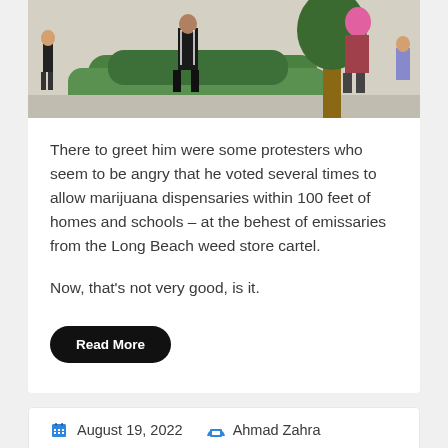[Figure (photo): Outdoor photo showing protesters, hedges, and a person with pink hair near a tree on a sunny day]
There to greet him were some protesters who seem to be angry that he voted several times to allow marijuana dispensaries within 100 feet of homes and schools – at the behest of emissaries from the Long Beach weed store cartel.
Now, that's not very good, is it.
Read More
August 19, 2022   Ahmad Zahra